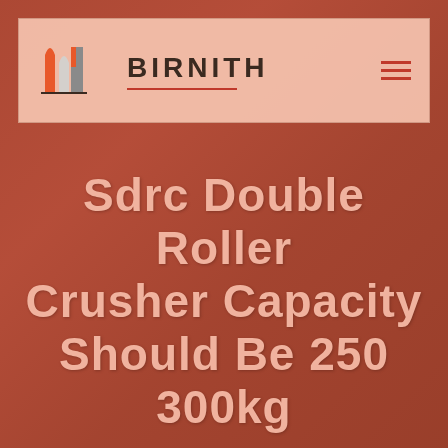[Figure (logo): Birnith company logo with red/orange building icon and 'BIRNITH' text with hamburger menu]
Sdrc Double Roller Crusher Capacity Should Be 250 300kg